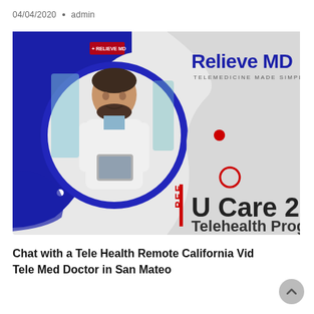04/04/2020 • admin
[Figure (illustration): Promotional banner for Relieve MD Telemedicine showing a doctor in a white coat holding a tablet, set against a dark blue and light gray background. Text reads: Relieve MD - Telemedicine Made Simple. FREE U Care 2020 Telehealth Program.]
Chat with a Tele Health Remote California Vid Tele Med Doctor in San Mateo